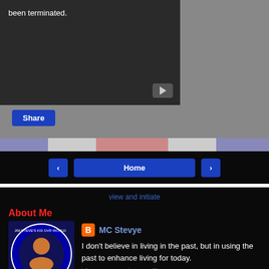[Figure (screenshot): Embedded YouTube video player showing an error message 'been terminated.' on dark background with YouTube icon]
Share
[Figure (screenshot): Website navigation bar with left arrow, Home button, and right arrow on black background]
view and initiate
About Me
[Figure (photo): Profile avatar image for MC Stevye blog with circular logo and website URL myadultiserve.com]
MC Stevye
I don't believe in living in the past, but in using the past to enhance living for today.
View my complete profile